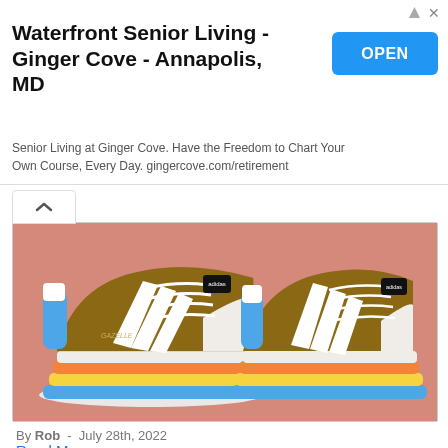Waterfront Senior Living - Ginger Cove - Annapolis, MD
Senior Living at Ginger Cove. Have the Freedom to Chart Your Own Course, Every Day. gingercove.com/retirement
[Figure (photo): Adidas x Gucci Gazelle platform sneakers with GG monogram upper, white three stripes, blue heel tab, and rainbow-striped platform sole (orange, yellow, blue layers), set against a pink background.]
By Rob - July 28th, 2022
Read More